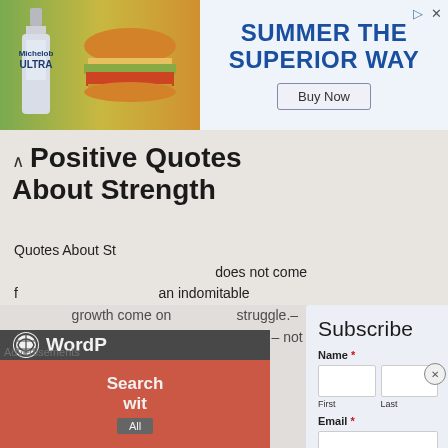[Figure (screenshot): Advertisement banner for Michelob ULTRA featuring a beer bottle, hamburger, and text 'SUMMER THE SUPERIOR WAY' with a 'Buy Now' button]
Positive Quotes About Strength
Quotes About Strength does not come from physical capacity. It comes from an indomitable will. All personal growth come only through struggle. – Napoleon Hill. Kites rise highest against the wind – not with it. – you put your fee...
[Figure (logo): WordPress logo and partial text 'WordP...' on dark background]
Advertisements
[Figure (screenshot): Red advertisement with text 'Search with...' and 'All']
[Figure (screenshot): Subscribe modal overlay with Name (First, Last) and Email fields and Submit button]
Subscribe
Name *
First
Last
Email *
Submit